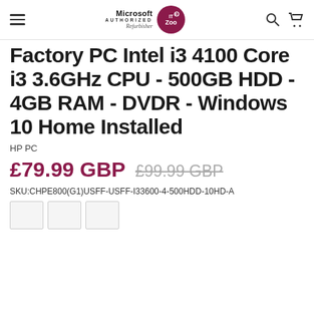[Navigation header with hamburger menu, Microsoft Authorized Refurbisher IT Zoo logo, search and cart icons]
Factory PC Intel i3 4100 Core i3 3.6GHz CPU - 500GB HDD - 4GB RAM - DVDR - Windows 10 Home Installed
HP PC
£79.99 GBP  £99.99 GBP
SKU:CHPE800(G1)USFF-USFF-I33600-4-500HDD-10HD-A